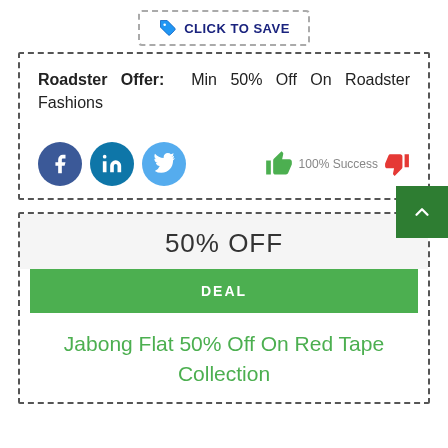[Figure (other): Click to save button with tag icon and dashed border]
Roadster Offer: Min 50% Off On Roadster Fashions
[Figure (other): Social media icons: Facebook, LinkedIn, Twitter; thumbs up green icon, 100% Success text, thumbs down red icon]
50% OFF
DEAL
Jabong Flat 50% Off On Red Tape Collection